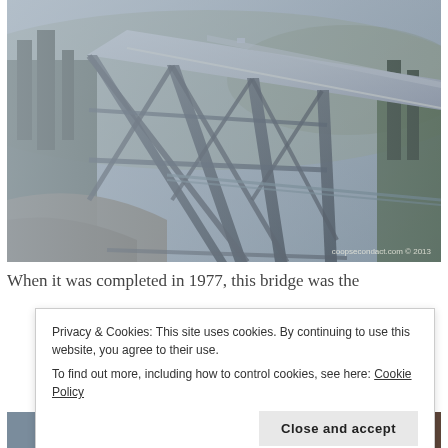[Figure (photo): A large highway bridge (trestle/viaduct) photographed from below and to the side on a foggy/misty winter day. The bridge deck runs diagonally from upper left to right. Steel truss supports are visible beneath. Trees and hills are in the background. Watermark reads 'coopsecondact.com © 2013'.]
When it was completed in 1977, this bridge was the
Privacy & Cookies: This site uses cookies. By continuing to use this website, you agree to their use.
To find out more, including how to control cookies, see here: Cookie Policy
[Figure (photo): Two partially visible thumbnail photos at the bottom of the page. Left photo appears to show a road/bridge scene. Right photo appears to show an interior or darker scene.]